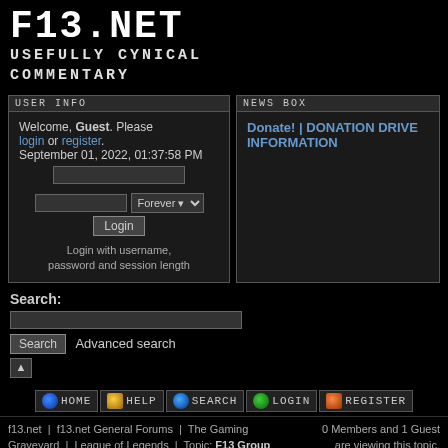F13.NET USEFULLY CYNICAL COMMENTARY
USER INFO
Welcome, Guest. Please login or register. September 01, 2022, 01:37:58 PM
Login with username, password and session length
NEWS BOX
Donate! | DONATION DRIVE INFORMATION
Search:
Search   Advanced search
HOME HELP SEARCH LOGIN REGISTER
f13.net | f13.net General Forums | The Gaming Graveyard | League of Legends | Topic: F13 Group
0 Members and 1 Guest are viewing this topic.